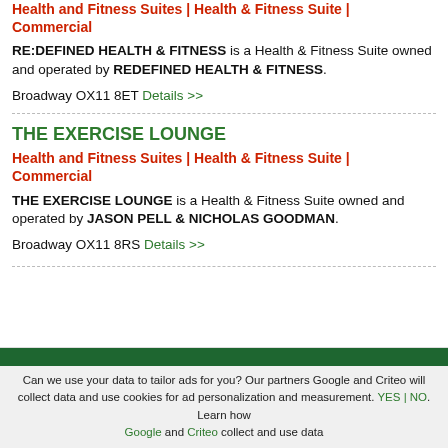Health and Fitness Suites | Health & Fitness Suite | Commercial
RE:DEFINED HEALTH & FITNESS is a Health & Fitness Suite owned and operated by REDEFINED HEALTH & FITNESS.
Broadway OX11 8ET  Details >>
THE EXERCISE LOUNGE
Health and Fitness Suites | Health & Fitness Suite | Commercial
THE EXERCISE LOUNGE is a Health & Fitness Suite owned and operated by JASON PELL & NICHOLAS GOODMAN.
Broadway OX11 8RS  Details >>
Can we use your data to tailor ads for you? Our partners Google and Criteo will collect data and use cookies for ad personalization and measurement. YES | NO. Learn how Google and Criteo collect and use data